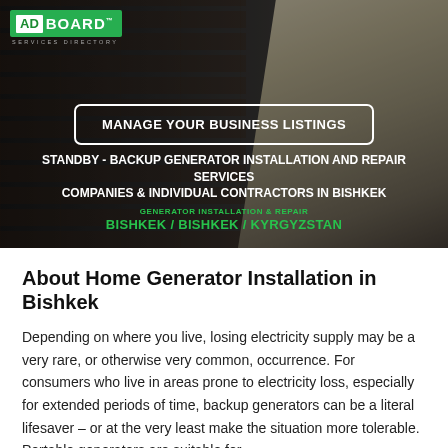[Figure (photo): Hero banner with dark background showing a standby generator on right side and brick wall texture on left, with ADBOARD logo in top-left corner]
ADBOARD SERVICES DIRECTORY
MANAGE YOUR BUSINESS LISTINGS
STANDBY - BACKUP GENERATOR INSTALLATION AND REPAIR SERVICES
COMPANIES & INDIVIDUAL CONTRACTORS IN BISHKEK
GENERATOR INSTALLATION & REPAIR
BISHKEK / BISHKEK / KYRGYZSTAN
About Home Generator Installation in Bishkek
Depending on where you live, losing electricity supply may be a very rare, or otherwise very common, occurrence. For consumers who live in areas prone to electricity loss, especially for extended periods of time, backup generators can be a literal lifesaver – or at the very least make the situation more tolerable. Portable generators are suitable for